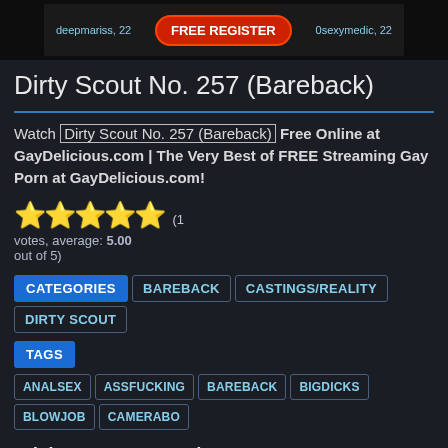[Figure (photo): Advertisement banner with profile photos, FREE REGISTER button, usernames deepmariss 22 and 0sexymedic 22]
Dirty Scout No. 257 (Bareback)
Watch Dirty Scout No. 257 (Bareback) Free Online at GayDelicious.com | The Very Best of FREE Streaming Gay Porn at GayDelicious.com!
[Figure (infographic): 5 gold star rating icons]
(1 votes, average: 5.00 out of 5)
CATEGORIES   BAREBACK   CASTINGS/REALITY   DIRTY SCOUT
TAGS
ANALSEX   ASSFUCKING   BAREBACK   BIGDICKS   BLOWJOB   CAMERABO...
Video Suggestions
[Figure (photo): Video thumbnail showing person with red/orange hair, HD badge top left, plus icon top right]